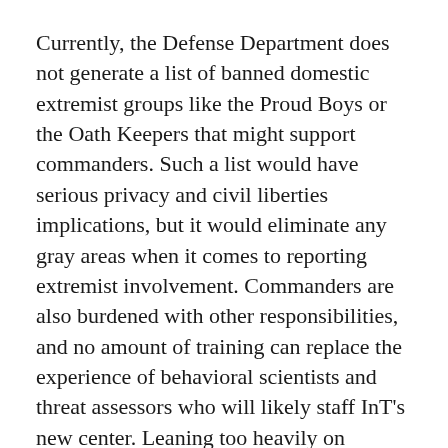Currently, the Defense Department does not generate a list of banned domestic extremist groups like the Proud Boys or the Oath Keepers that might support commanders. Such a list would have serious privacy and civil liberties implications, but it would eliminate any gray areas when it comes to reporting extremist involvement. Commanders are also burdened with other responsibilities, and no amount of training can replace the experience of behavioral scientists and threat assessors who will likely staff InT's new center. Leaning too heavily on commanders to counter extremism may also result in significant conflicts of interest, which—even with bolstered reporting and response mechanisms through InT—could prove costly.
Recent events have hammered home the potential risks in relying too heavily on commanders. West Point professor Daniel Miltenberger found better, so that the